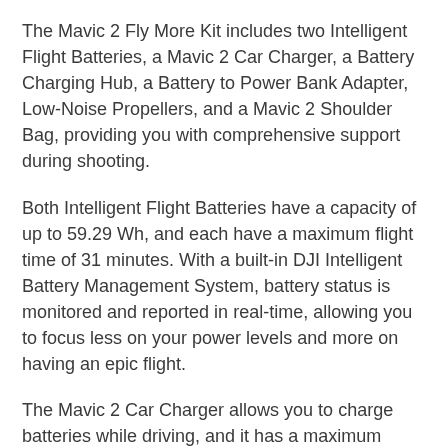The Mavic 2 Fly More Kit includes two Intelligent Flight Batteries, a Mavic 2 Car Charger, a Battery Charging Hub, a Battery to Power Bank Adapter, Low-Noise Propellers, and a Mavic 2 Shoulder Bag, providing you with comprehensive support during shooting.
Both Intelligent Flight Batteries have a capacity of up to 59.29 Wh, and each have a maximum flight time of 31 minutes. With a built-in DJI Intelligent Battery Management System, battery status is monitored and reported in real-time, allowing you to focus less on your power levels and more on having an epic flight.
The Mavic 2 Car Charger allows you to charge batteries while driving, and it has a maximum output power of up to 80W and features low-voltage protection technology that ensures the charge will not prevent your car from starting normally.
The Battery Charging Hub enhances efficiency by